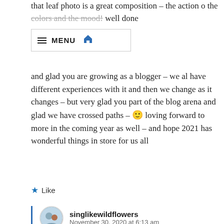that leaf photo is a great composition – the action o the colors and the mood! well done
[Figure (screenshot): Navigation menu bar with hamburger icon, MENU text, and home icon]
and glad you are growing as a blogger – we al have different experiences with it and then we change as it changes – but very glad you part of the blog arena and glad we have crossed paths – 🙂 loving forward to more in the coming year as well – and hope 2021 has wonderful things in store for us all
Like
singlikewildflowers
November 30, 2020 at 6:13 am
And thank you for the comment about my picture! I tries something new without the kids looking at the camera. The leaves were so plentiful that I wanted to capture that too.